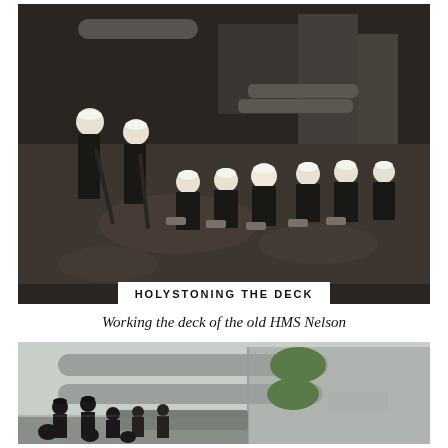[Figure (photo): Black and white photograph of Royal Navy sailors holystoning (scrubbing) the deck of HMS Nelson. Several sailors in dark uniforms and white caps are kneeling and pushing stones across a wet wooden deck. Two sailors in the foreground are pushing long-handled mops or brooms. Naval equipment and ship superstructure visible in the background. White caption bar at bottom reads 'HOLYSTONING THE DECK'.]
Working the deck of the old HMS Nelson
[Figure (photo): Colour photograph showing large naval gun barrels (with green canvas covers on the muzzles) of a warship turret, with several sailors in dark uniforms and caps standing and crouching around the base of the turret on deck.]